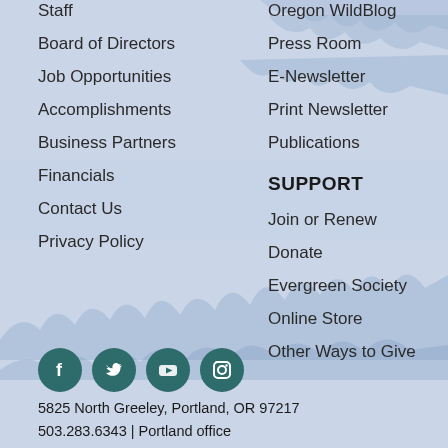Staff
Board of Directors
Job Opportunities
Accomplishments
Business Partners
Financials
Contact Us
Privacy Policy
Oregon WildBlog
Press Room
E-Newsletter
Print Newsletter
Publications
SUPPORT
Join or Renew
Donate
Evergreen Society
Online Store
Other Ways to Give
[Figure (illustration): Social media icons: Facebook, Twitter, YouTube, Instagram on dark teal circular backgrounds]
5825 North Greeley, Portland, OR 97217
503.283.6343 | Portland office